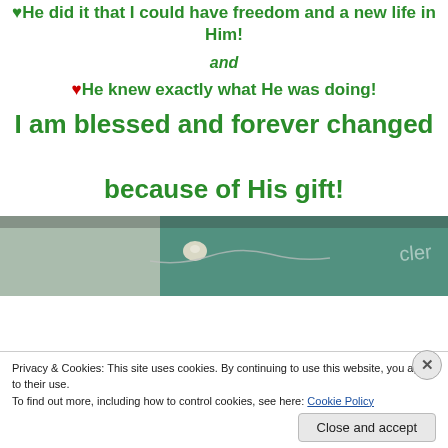He did it that I could have freedom and a new life in Him!
and
♥He knew exactly what He was doing!
I am blessed and forever changed because of His gift!
[Figure (photo): Close-up photo of teal/turquoise fabric with a pearl and silver chain detail, partial text visible on right edge]
Privacy & Cookies: This site uses cookies. By continuing to use this website, you agree to their use. To find out more, including how to control cookies, see here: Cookie Policy
Close and accept